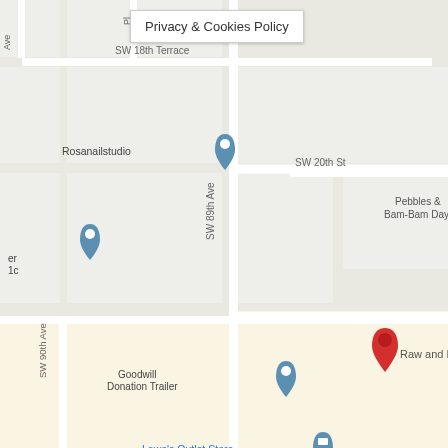[Figure (map): Google Maps screenshot showing a neighborhood in Miami, FL around SW 89th Ave and Coral Way area. Notable locations include Raw and Kibble (marked with red pin), Goodwill Donation Trailer, Lowe's Outlet Store, Wendy's, ALDI, Westchester Shopping Center, Pebbles & Bam-Bam Daycare, Rosanailstudio, International Dental Clinic, La Mesa Restaurant M, Luis (restaurant), Publix Super M at Coral Way S. Street labels include SW 18th Terrace, SW 20th St, SW 21st St, 21st Terrace, Coral Way, SW 27th St, SW 89th Ave, SW 90th Ave, SW 88th Ave, SW 86th Ave, SW 85th Ct.]
Privacy & Cookies Policy